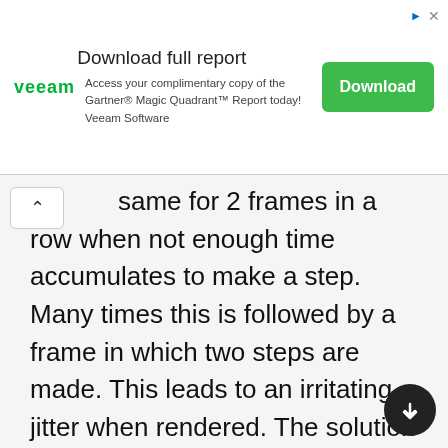[Figure (other): Advertisement banner for Veeam Software — Download full report — Access your complimentary copy of the Gartner® Magic Quadrant™ Report today! Veeam Software — Download button]
same for 2 frames in a row when not enough time accumulates to make a step. Many times this is followed by a frame in which two steps are made. This leads to an irritating jitter when rendered. The solution is straightforward though. Knowing the current and previous state as well as the unused accumulated time, we can interpolate all values resulting in buttery smooth animations.
Time Step